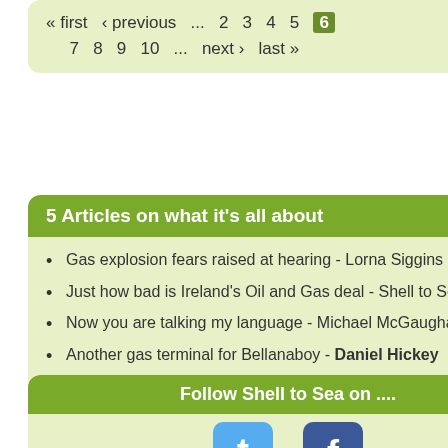« first  ‹ previous  ...  2  3  4  5  6  7  8  9  10  ...  next ›  last »
5 Articles on what it's all about
Gas explosion fears raised at hearing - Lorna Siggins
Just how bad is Ireland's Oil and Gas deal - Shell to Sea
Now you are talking my language - Michael McGaughan
Another gas terminal for Bellanaboy - Daniel Hickey
Corrib and the art of bog building - James Laffey
Follow Shell to Sea on ....
[Figure (other): Twitter and Facebook social media icons]